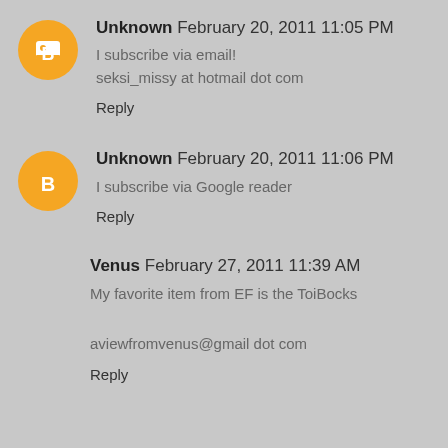Unknown  February 20, 2011 11:05 PM
I subscribe via email!
seksi_missy at hotmail dot com
Reply
Unknown  February 20, 2011 11:06 PM
I subscribe via Google reader
Reply
Venus  February 27, 2011 11:39 AM
My favorite item from EF is the ToiBocks
aviewfromvenus@gmail dot com
Reply